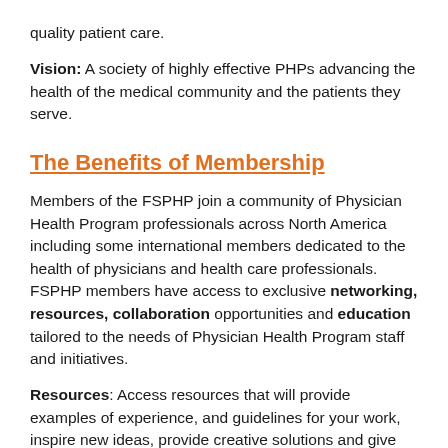quality patient care.
Vision: A society of highly effective PHPs advancing the health of the medical community and the patients they serve.
The Benefits of Membership
Members of the FSPHP join a community of Physician Health Program professionals across North America including some international members dedicated to the health of physicians and health care professionals. FSPHP members have access to exclusive networking, resources, collaboration opportunities and education tailored to the needs of Physician Health Program staff and initiatives.
Resources: Access resources that will provide examples of experience, and guidelines for your work, inspire new ideas, provide creative solutions and give you the tools needed to excel in the field.
Collaboration: Contribute to FSPHP's tradition of